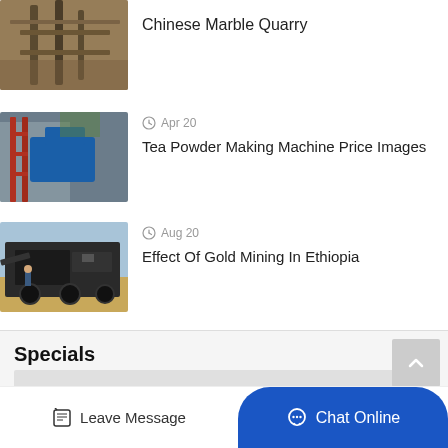[Figure (photo): Partial view of Chinese Marble Quarry machinery/equipment]
Chinese Marble Quarry
[Figure (photo): Blue industrial machinery structure with red metal scaffolding]
Apr 20
Tea Powder Making Machine Price Images
[Figure (photo): Large black mobile mining/crushing machine outdoors]
Aug 20
Effect Of Gold Mining In Ethiopia
Specials
Leave Message
Chat Online